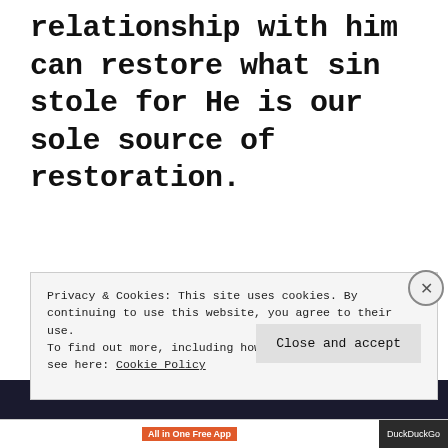relationship with him can restore what sin stole for He is our sole source of restoration.
[Figure (illustration): A watercolor-style butterfly illustration with blue and purple wings, centered on the page.]
Privacy & Cookies: This site uses cookies. By continuing to use this website, you agree to their use.
To find out more, including how to control cookies, see here: Cookie Policy
Close and accept